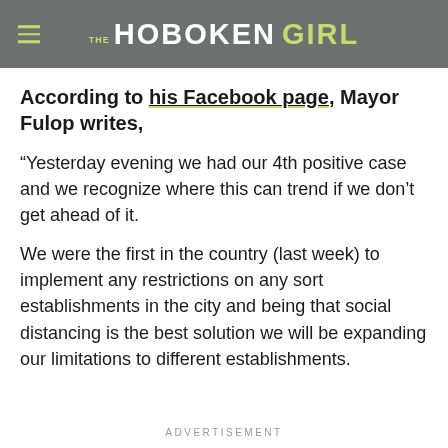THE HOBOKEN GIRL
According to his Facebook page, Mayor Fulop writes,
“Yesterday evening we had our 4th positive case and we recognize where this can trend if we don’t get ahead of it.
We were the first in the country (last week) to implement any restrictions on any sort establishments in the city and being that social distancing is the best solution we will be expanding our limitations to different establishments.
ADVERTISEMENT